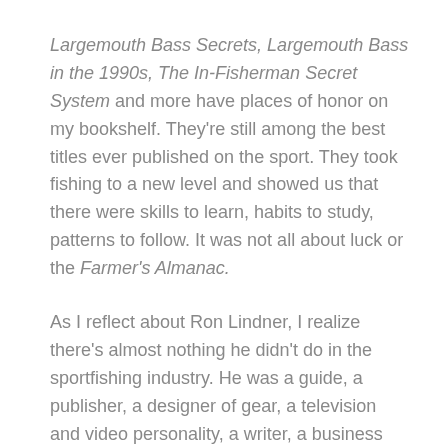Largemouth Bass Secrets, Largemouth Bass in the 1990s, The In-Fisherman Secret System and more have places of honor on my bookshelf. They're still among the best titles ever published on the sport. They took fishing to a new level and showed us that there were skills to learn, habits to study, patterns to follow. It was not all about luck or the Farmer's Almanac.
As I reflect about Ron Lindner, I realize there's almost nothing he didn't do in the sportfishing industry. He was a guide, a publisher, a designer of gear, a television and video personality, a writer, a business person, a speaker and spokesperson and much, much more.
But I will always think of him as an educator and as an ambassador for our sport and our lifestyle. He inspired me and still does. I am very fortunate to have known him, if only a little.
As I get older and lose more and more friends in the fishing world, I